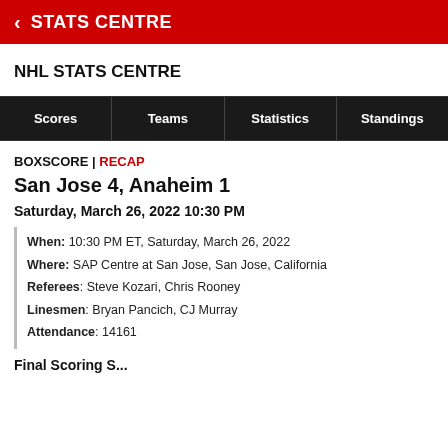< STATS CENTRE
NHL STATS CENTRE
| Scores | Teams | Statistics | Standings |
| --- | --- | --- | --- |
BOXSCORE | RECAP
San Jose 4, Anaheim 1
Saturday, March 26, 2022 10:30 PM
When: 10:30 PM ET, Saturday, March 26, 2022
Where: SAP Centre at San Jose, San Jose, California
Referees: Steve Kozari, Chris Rooney
Linesmen: Bryan Pancich, CJ Murray
Attendance: 14161
Final Scoring S...